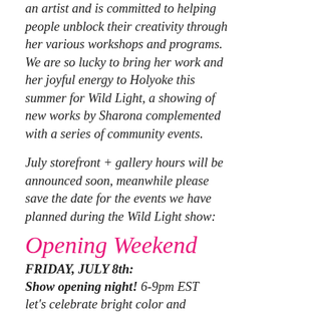an artist and is committed to helping people unblock their creativity through her various workshops and programs. We are so lucky to bring her work and her joyful energy to Holyoke this summer for Wild Light, a showing of new works by Sharona complemented with a series of community events.
July storefront + gallery hours will be announced soon, meanwhile please save the date for the events we have planned during the Wild Light show:
Opening Weekend
FRIDAY, JULY 8th:
Show opening night! 6-9pm EST
let's celebrate bright color and community!